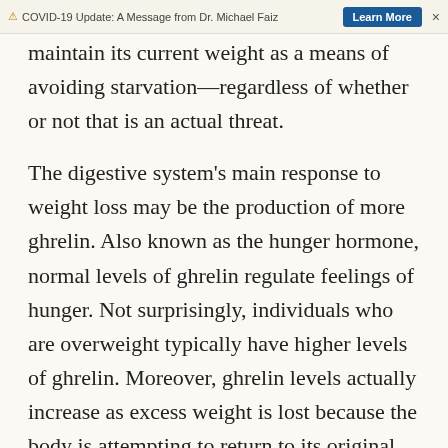⚠ COVID-19 Update: A Message from Dr. Michael Faiz  [Learn More]  ×
maintain its current weight as a means of avoiding starvation—regardless of whether or not that is an actual threat.

The digestive system's main response to weight loss may be the production of more ghrelin. Also known as the hunger hormone, normal levels of ghrelin regulate feelings of hunger. Not surprisingly, individuals who are overweight typically have higher levels of ghrelin. Moreover, ghrelin levels actually increase as excess weight is lost because the body is attempting to return to its original state. In a less prosperous time and place, this function was likely imperative for